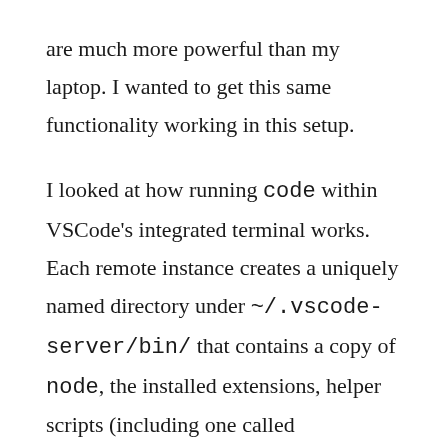are much more powerful than my laptop. I wanted to get this same functionality working in this setup.

I looked at how running code within VSCode's integrated terminal works. Each remote instance creates a uniquely named directory under ~/.vscode-server/bin/ that contains a copy of node, the installed extensions, helper scripts (including one called bin/code) and other state. There's a UNIX domain socket called